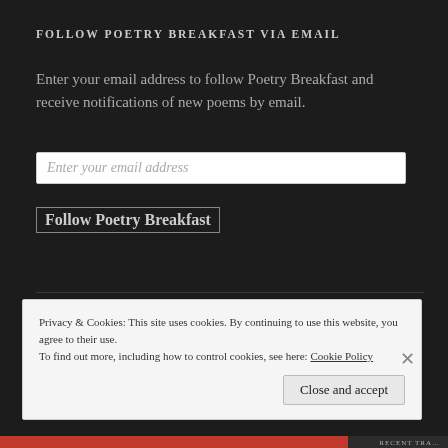FOLLOW POETRY BREAKFAST VIA EMAIL
Enter your email address to follow Poetry Breakfast and receive notifications of new poems by email.
Enter your email address
Follow Poetry Breakfast
[Figure (other): WordPress Follow Poetry Breakfast button (teal/cyan background with WordPress logo icon)]
Privacy & Cookies: This site uses cookies. By continuing to use this website, you agree to their use.
To find out more, including how to control cookies, see here: Cookie Policy
Close and accept